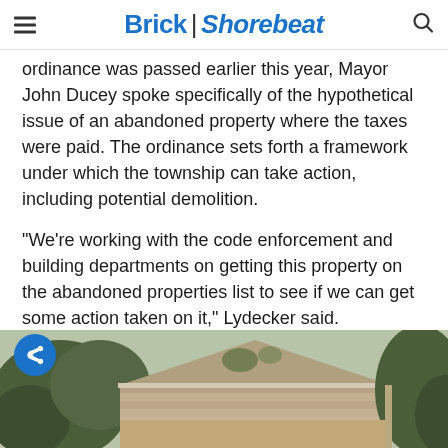Brick | Shorebeat
ordinance was passed earlier this year, Mayor John Ducey spoke specifically of the hypothetical issue of an abandoned property where the taxes were paid. The ordinance sets forth a framework under which the township can take action, including potential demolition.
“We’re working with the code enforcement and building departments on getting this property on the abandoned properties list to see if we can get some action taken on it,” Lydecker said.
[Figure (photo): Exterior photo of an abandoned house showing roof and overgrown trees/shrubs around it]